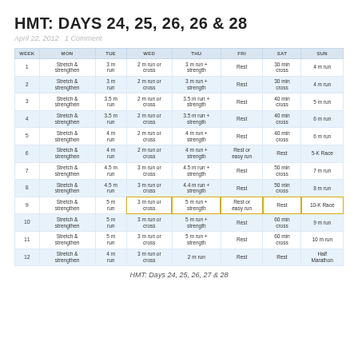HMT: DAYS 24, 25, 26, 26 & 28
April 22, 2012   1 Comment
| WEEK | MON | TUE | WED | THU | FRI | SAT | SUN |
| --- | --- | --- | --- | --- | --- | --- | --- |
| 1 | Stretch & strengthen | 3 m run | 2 m run or cross | 3 m run + strength | Rest | 30 min cross | 4 m run |
| 2 | Stretch & strengthen | 3 m run | 2 m run or cross | 3 m run + strength | Rest | 30 min cross | 4 m run |
| 3 | Stretch & strengthen | 3.5 m run | 2 m run or cross | 3.5 m run + strength | Rest | 40 min cross | 5 m run |
| 4 | Stretch & strengthen | 3.5 m run | 2 m run or cross | 3.5 m run + strength | Rest | 40 min cross | 6 m run |
| 5 | Stretch & strengthen | 4 m run | 2 m run or cross | 4 m run + strength | Rest | 40 min cross | 6 m run |
| 6 | Stretch & strengthen | 4 m run | 2 m run or cross | 4 m run + strength | Rest or easy run | Rest | 5-K Race |
| 7 | Stretch & strengthen | 4.5 m run | 3 m run or cross | 4.5 m run + strength | Rest | 50 min cross | 7 m run |
| 8 | Stretch & strengthen | 4.5 m run | 3 m run or cross | 4.4 m run + strength | Rest | 50 min cross | 8 m run |
| 9 | Stretch & strengthen | 5 m run | 3 m run or cross | 5 m run + strength | Rest or easy run | Rest | 10-K Race |
| 10 | Stretch & strengthen | 5 m run | 3 m run or cross | 5 m run + strength | Rest | 60 min cross | 9 m run |
| 11 | Stretch & strengthen | 5 m run | 3 m run or cross | 5 m run + strength | Rest | 60 min cross | 10 m run |
| 12 | Stretch & strengthen | 4 m run | 3 m run or cross | 2 m run | Rest | Rest | Half Marathon |
HMT: Days 24, 25, 26, 27 & 28